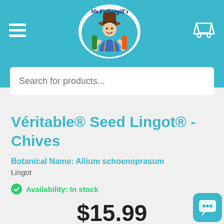[Figure (logo): Mr. Fothergill's brand logo with mascot cartoon man in hat, circular badge style]
Search for products...
Véritable® Seed Lingot® - Chives
Botanical Name: Allium schoenoprasum
Lingot
Availability: In stock
$15.99
ADD TO CART